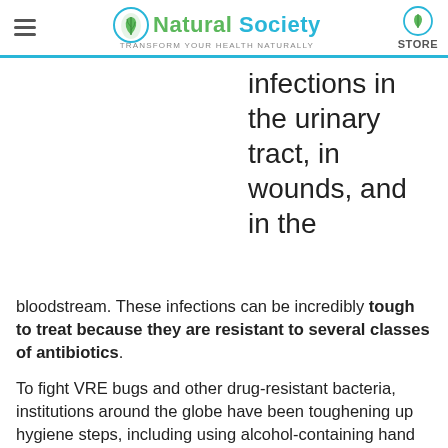Natural Society — Transform your health naturally | STORE
infections in the urinary tract, in wounds, and in the
bloodstream. These infections can be incredibly tough to treat because they are resistant to several classes of antibiotics.
To fight VRE bugs and other drug-resistant bacteria, institutions around the globe have been toughening up hygiene steps, including using alcohol-containing hand